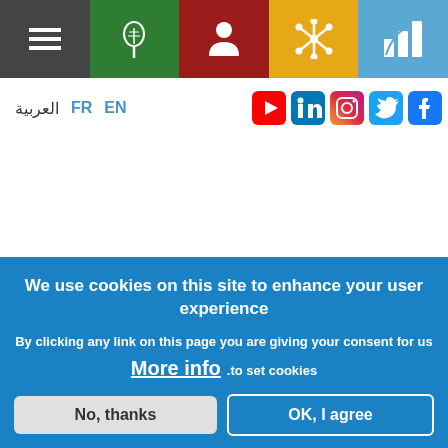[Figure (screenshot): Website navigation bar with menu icon (hamburger), green leaf icon, red person/user icon, gold/yellow star/network icon, and blue chart icon]
العربية  FR  EN
[Figure (infographic): Social media icons: YouTube, LinkedIn, Instagram, Twitter/X, Facebook]
We use cookies on this site to enhance your user experience
By clicking any link on this page you are giving your consent for us
More info .to set cookies
No, thanks  OK, I agree